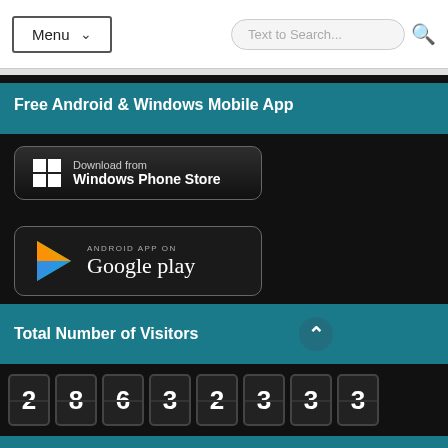Menu | Text to Search...
Free Android & Windows Mobile App
[Figure (screenshot): Download from Windows Phone Store button - dark rounded rectangle with Windows logo and text]
[Figure (screenshot): Android App on Google Play button - dark rounded rectangle with Google Play logo]
Total Number of Visitors
28632333
Free, KDP & Paperback Books, Earn BTC
Free e-Books
Amazon.in KDP Books